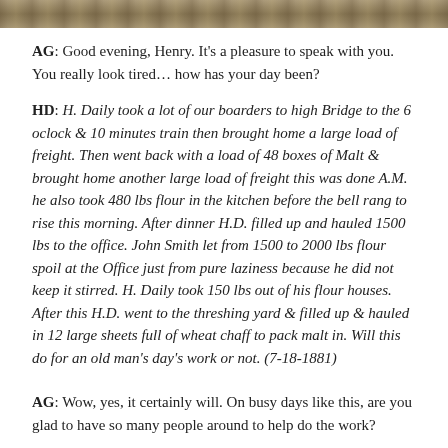[Figure (photo): Sepia-toned historical photograph strip at top of page showing a landscape or outdoor scene]
AG: Good evening, Henry. It's a pleasure to speak with you. You really look tired… how has your day been?
HD: H. Daily took a lot of our boarders to high Bridge to the 6 oclock & 10 minutes train then brought home a large load of freight. Then went back with a load of 48 boxes of Malt & brought home another large load of freight this was done A.M. he also took 480 lbs flour in the kitchen before the bell rang to rise this morning. After dinner H.D. filled up and hauled 1500 lbs to the office. John Smith let from 1500 to 2000 lbs flour spoil at the Office just from pure laziness because he did not keep it stirred. H. Daily took 150 lbs out of his flour houses. After this H.D. went to the threshing yard & filled up & hauled in 12 large sheets full of wheat chaff to pack malt in. Will this do for an old man's day's work or not. (7-18-1881)
AG: Wow, yes, it certainly will. On busy days like this, are you glad to have so many people around to help do the work?